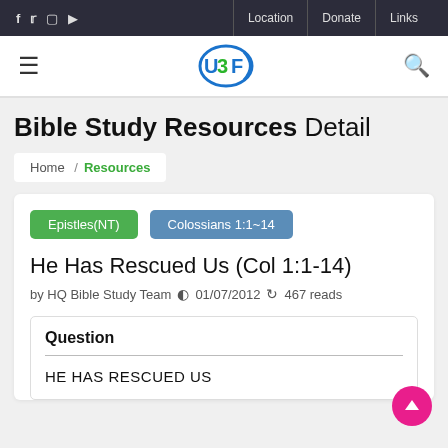f  y  [instagram]  [youtube]   Location | Donate | Links
[Figure (logo): UBF logo with blue circle and letters, hamburger menu icon on left, search icon on right]
Bible Study Resources Detail
Home / Resources
Epistles(NT)   Colossians 1:1~14
He Has Rescued Us (Col 1:1-14)
by HQ Bible Study Team  01/07/2012  467 reads
Question
HE HAS RESCUED US